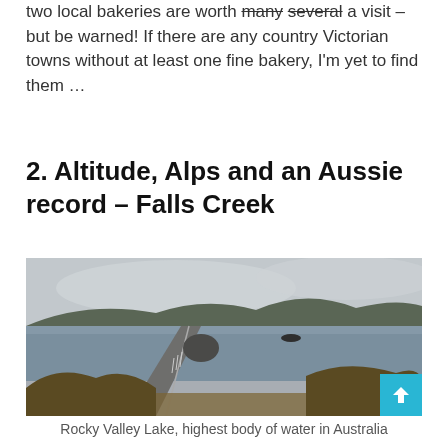two local bakeries are worth many several a visit – but be warned! If there are any country Victorian towns without at least one fine bakery, I'm yet to find them …
2. Altitude, Alps and an Aussie record – Falls Creek
[Figure (photo): A misty overcast landscape showing a road leading to a dam wall beside Rocky Valley Lake, with hills and mountains in the background under grey cloudy skies. Dry grassy scrub in the foreground.]
Rocky Valley Lake, highest body of water in Australia